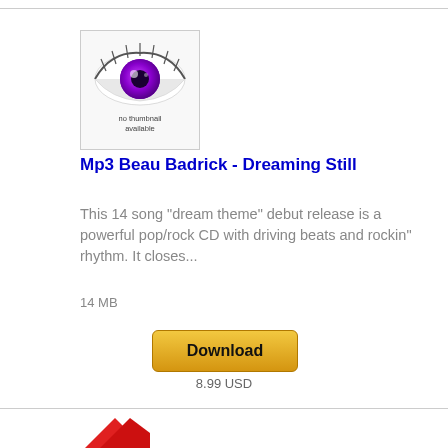[Figure (illustration): Album thumbnail showing a stylized purple eye on white/grey background with text 'no thumbnail available' below]
Mp3 Beau Badrick - Dreaming Still
This 14 song "dream theme" debut release is a powerful pop/rock CD with driving beats and rockin" rhythm. It closes...
14 MB
[Figure (other): Download button - golden/yellow rounded rectangle button with text 'Download']
8.99 USD